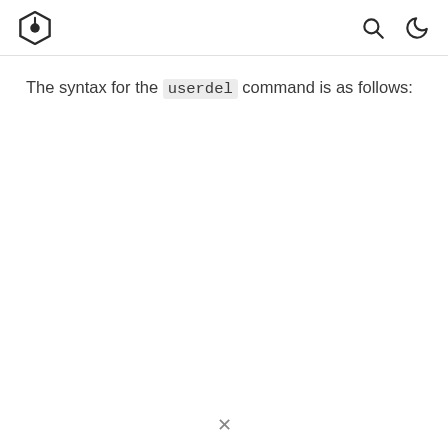[logo] [search icon] [dark mode icon]
The syntax for the userdel command is as follows: